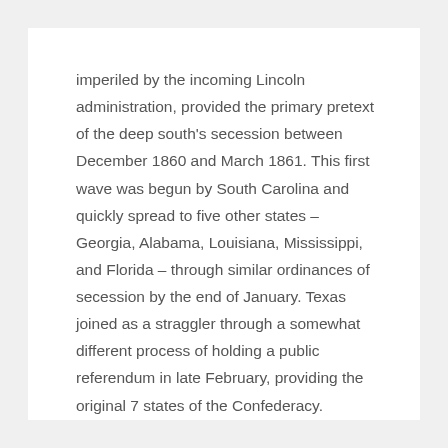imperiled by the incoming Lincoln administration, provided the primary pretext of the deep south's secession between December 1860 and March 1861. This first wave was begun by South Carolina and quickly spread to five other states – Georgia, Alabama, Louisiana, Mississippi, and Florida – through similar ordinances of secession by the end of January. Texas joined as a straggler through a somewhat different process of holding a public referendum in late February, providing the original 7 states of the Confederacy.